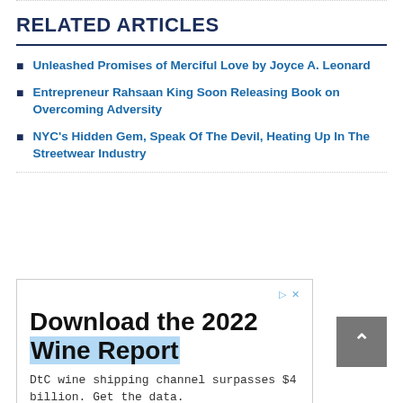RELATED ARTICLES
Unleashed Promises of Merciful Love by Joyce A. Leonard
Entrepreneur Rahsaan King Soon Releasing Book on Overcoming Adversity
NYC's Hidden Gem, Speak Of The Devil, Heating Up In The Streetwear Industry
[Figure (other): Advertisement for '2022 Wine Report' with headline 'Download the 2022 Wine Report' and body text 'DtC wine shipping channel surpasses $4 billion. Get the data.']